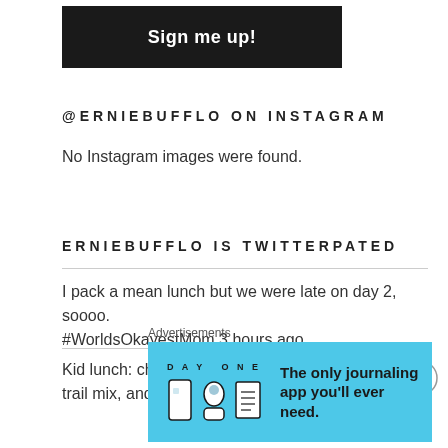[Figure (other): Black button with white bold text reading 'Sign me up!']
@ERNIEBUFFLO ON INSTAGRAM
No Instagram images were found.
ERNIEBUFFLO IS TWITTERPATED
I pack a mean lunch but we were late on day 2, soooo. #WorldsOkayestMom 3 hours ago
Kid lunch: chicken bacon salad wraps, Brie, trail mix, and
Advertisements
[Figure (other): DAY ONE journaling app advertisement banner on blue background with icon illustrations and text 'The only journaling app you'll ever need.']